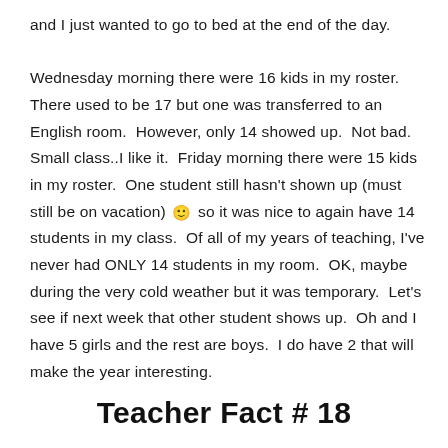and I just wanted to go to bed at the end of the day.

Wednesday morning there were 16 kids in my roster.  There used to be 17 but one was transferred to an English room.  However, only 14 showed up.  Not bad.  Small class..I like it.  Friday morning there were 15 kids in my roster.  One student still hasn't shown up (must still be on vacation) 🙂 so it was nice to again have 14 students in my class.  Of all of my years of teaching, I've never had ONLY 14 students in my room.  OK, maybe during the very cold weather but it was temporary.  Let's see if next week that other student shows up.  Oh and I have 5 girls and the rest are boys.  I do have 2 that will make the year interesting.
Teacher Fact # 18